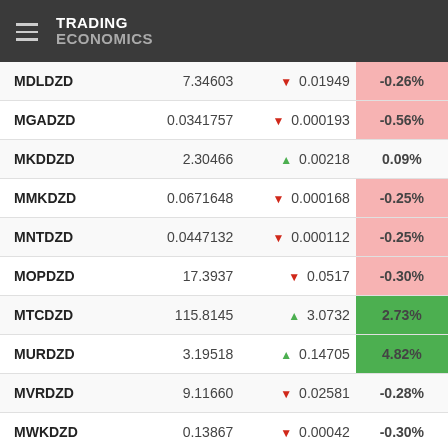TRADING ECONOMICS
| Symbol | Price | Change | % Change |
| --- | --- | --- | --- |
| MDLDZD | 7.34603 | ▼ 0.01949 | -0.26% |
| MGADZD | 0.0341757 | ▼ 0.000193 | -0.56% |
| MKDDZD | 2.30466 | ▲ 0.00218 | 0.09% |
| MMKDZD | 0.0671648 | ▼ 0.000168 | -0.25% |
| MNTDZD | 0.0447132 | ▼ 0.000112 | -0.25% |
| MOPDZD | 17.3937 | ▼ 0.0517 | -0.30% |
| MTCDZD | 115.8145 | ▲ 3.0732 | 2.73% |
| MURDZD | 3.19518 | ▲ 0.14705 | 4.82% |
| MVRDZD | 9.11660 | ▼ 0.02581 | -0.28% |
| MWKDZD | 0.13867 | ▼ 0.00042 | -0.30% |